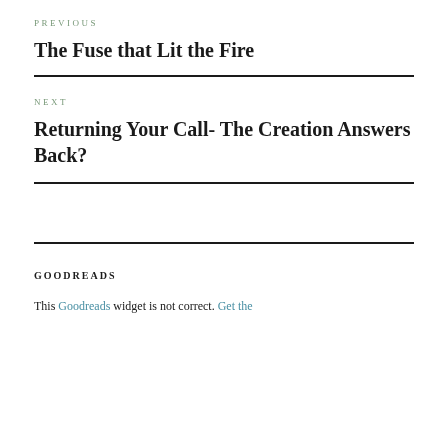PREVIOUS
The Fuse that Lit the Fire
NEXT
Returning Your Call- The Creation Answers Back?
GOODREADS
This Goodreads widget is not correct. Get the